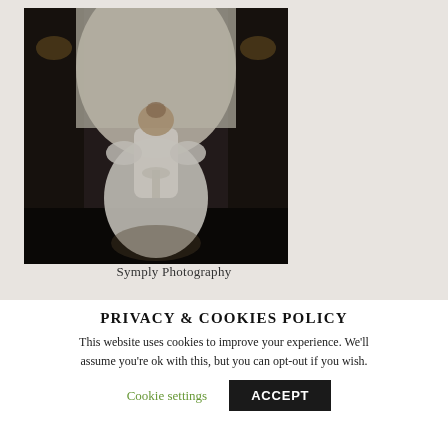[Figure (photo): A young girl in a white flower girl dress with lace sleeves and a bow, seen from behind, standing in a dark interior hallway. A white wedding gown is visible in the background.]
Symply Photography
PRIVACY & COOKIES POLICY
This website uses cookies to improve your experience. We'll assume you're ok with this, but you can opt-out if you wish.
Cookie settings  ACCEPT